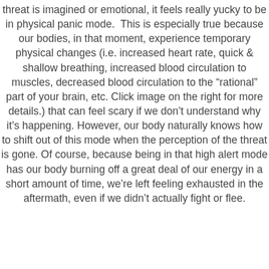threat is imagined or emotional, it feels really yucky to be in physical panic mode. This is especially true because our bodies, in that moment, experience temporary physical changes (i.e. increased heart rate, quick & shallow breathing, increased blood circulation to muscles, decreased blood circulation to the “rational” part of your brain, etc. Click image on the right for more details.) that can feel scary if we don’t understand why it’s happening. However, our body naturally knows how to shift out of this mode when the perception of the threat is gone. Of course, because being in that high alert mode has our body burning off a great deal of our energy in a short amount of time, we’re left feeling exhausted in the aftermath, even if we didn’t actually fight or flee.